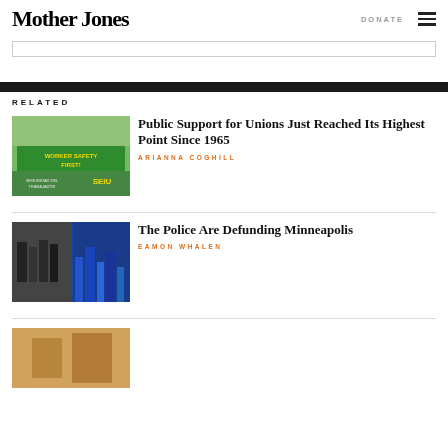Mother Jones
RELATED
[Figure (photo): Protest crowd holding green WORKER SAFETY FIRST banner with SEIU logo]
Public Support for Unions Just Reached Its Highest Point Since 1965
ARIANNA COGHILL
[Figure (photo): Split image: black and white police officers on left, blue-tinted city skyline on right]
The Police Are Defunding Minneapolis
EAMON WHALEN
[Figure (photo): Partial third article thumbnail visible at bottom]